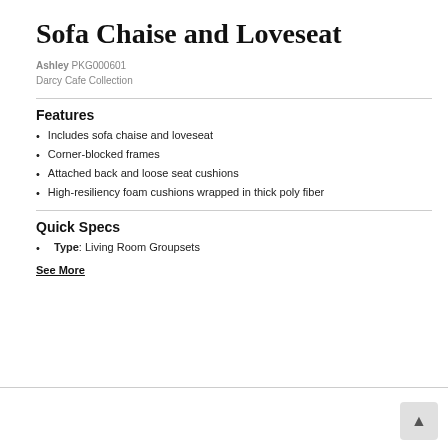Sofa Chaise and Loveseat
Ashley PKG000601
Darcy Cafe Collection
Features
Includes sofa chaise and loveseat
Corner-blocked frames
Attached back and loose seat cushions
High-resiliency foam cushions wrapped in thick poly fiber
Quick Specs
Type: Living Room Groupsets
See More